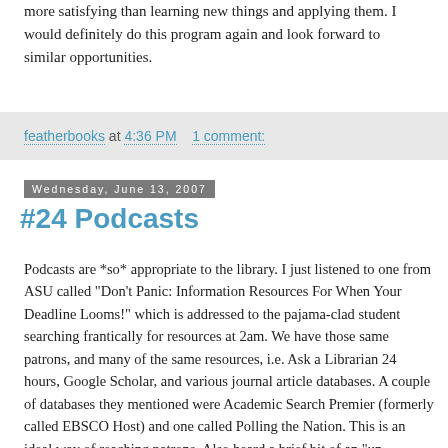more satisfying than learning new things and applying them. I would definitely do this program again and look forward to similar opportunities.
featherbooks at 4:36 PM   1 comment:
Wednesday, June 13, 2007
#24 Podcasts
Podcasts are *so* appropriate to the library. I just listened to one from ASU called "Don't Panic: Information Resources For When Your Deadline Looms!" which is addressed to the pajama-clad student searching frantically for resources at 2am. We have those same patrons, and many of the same resources, i.e. Ask a Librarian 24 hours, Google Scholar, and various journal article databases. A couple of databases they mentioned were Academic Search Premier (formerly called EBSCO Host) and one called Polling the Nation. This is an ideal way of reaching patrons. Also heard a brief bit of an "un-microphonegenic" speaker (uh, ahhhh, ummmm) which was dreadful so that is something to keep in mind when